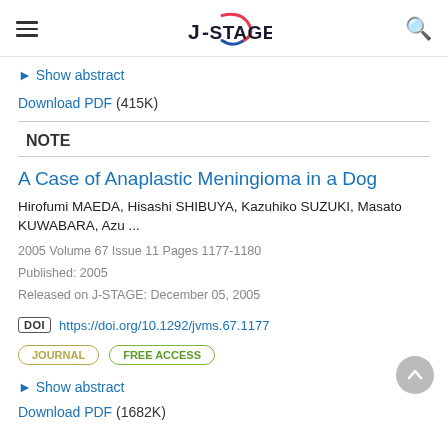J-STAGE
▶ Show abstract
Download PDF (415K)
NOTE
A Case of Anaplastic Meningioma in a Dog
Hirofumi MAEDA, Hisashi SHIBUYA, Kazuhiko SUZUKI, Masato KUWABARA, Azu ...
2005 Volume 67 Issue 11 Pages 1177-1180
Published: 2005
Released on J-STAGE: December 05, 2005
DOI https://doi.org/10.1292/jvms.67.1177
JOURNAL   FREE ACCESS
▶ Show abstract
Download PDF (1682K)